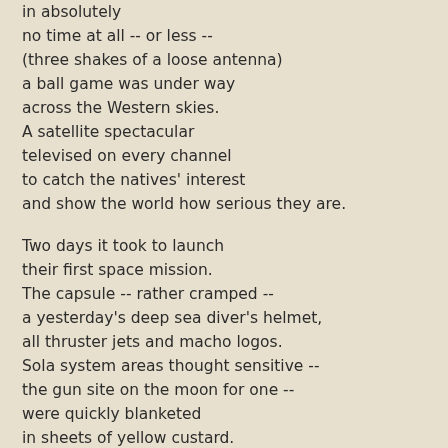in absolutely
no time at all -- or less --
(three shakes of a loose antenna)
a ball game was under way
across the Western skies.
A satellite spectacular
televised on every channel
to catch the natives' interest
and show the world how serious they are.

Two days it took to launch
their first space mission.
The capsule -- rather cramped --
a yesterday's deep sea diver's helmet,
all thruster jets and macho logos.
Sola system areas thought sensitive --
the gun site on the moon for one --
were quickly blanketed
in sheets of yellow custard.
to a recipe concocted by a space girl's mum.

Already now, in this first week